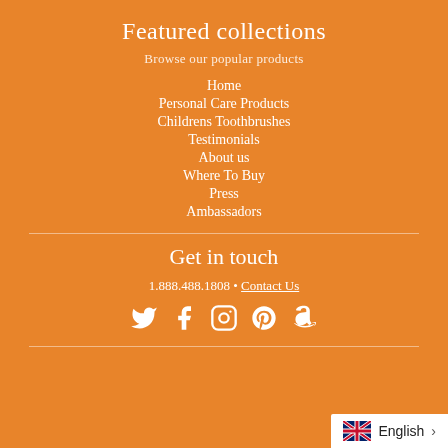Featured collections
Browse our popular products
Home
Personal Care Products
Childrens Toothbrushes
Testimonials
About us
Where To Buy
Press
Ambassadors
Get in touch
1.888.488.1808 • Contact Us
[Figure (infographic): Social media icons: Twitter, Facebook, Instagram, Pinterest, Amazon]
English